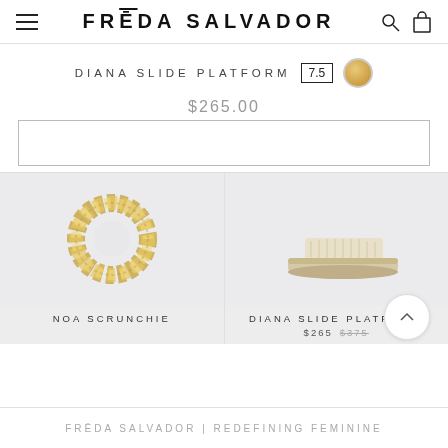FRĒDA SALVADOR
DIANA SLIDE PLATFORM 7.5
$265.00
[Figure (other): Gold metallic scrunchie hair accessory on light grey background]
NOA SCRUNCHIE
[Figure (other): Cream/natural woven platform slide sandal on light grey background]
DIANA SLIDE PLATFORM $265 $375
FRĒDA SALVADOR | REDEFINING FEMININE